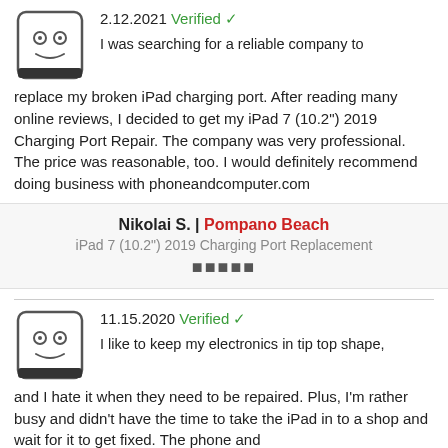2.12.2021 Verified ✓
I was searching for a reliable company to replace my broken iPad charging port. After reading many online reviews, I decided to get my iPad 7 (10.2") 2019 Charging Port Repair. The company was very professional. The price was reasonable, too. I would definitely recommend doing business with phoneandcomputer.com
Nikolai S. | Pompano Beach
iPad 7 (10.2") 2019 Charging Port Replacement
🟫🟫🟫🟫🟫
11.15.2020 Verified ✓
I like to keep my electronics in tip top shape, and I hate it when they need to be repaired. Plus, I'm rather busy and didn't have the time to take the iPad in to a shop and wait for it to get fixed. The phone and